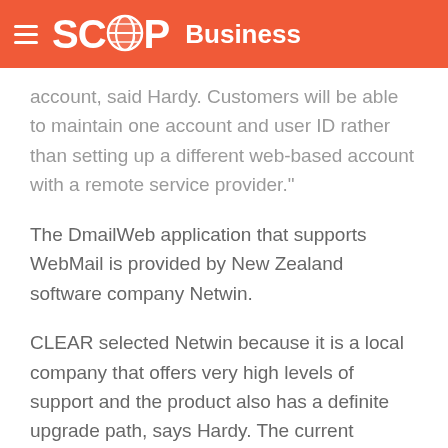SCOOP Business
account, said Hardy. Customers will be able to maintain one account and user ID rather than setting up a different web-based account with a remote service provider."
The DmailWeb application that supports WebMail is provided by New Zealand software company Netwin.
CLEAR selected Netwin because it is a local company that offers very high levels of support and the product also has a definite upgrade path, says Hardy. The current version features an online address book and future additions could include options such as folders and spell check. Hardy says that customer demand will